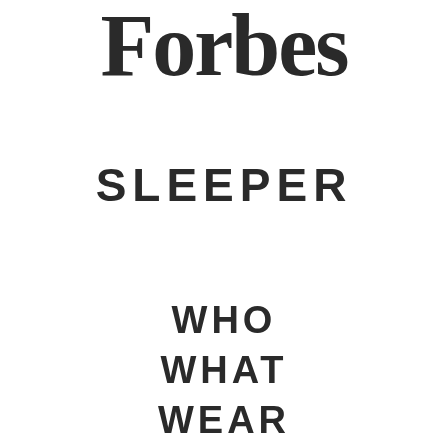[Figure (logo): Forbes magazine logo in large bold serif font at the top of the page]
SLEEPER
WHO
WHAT
WEAR